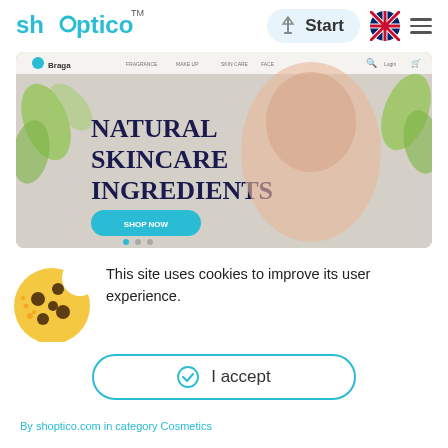[Figure (logo): Shoptico logo with cyan/teal text and TM mark]
[Figure (screenshot): Braga skincare e-commerce website screenshot showing 'NATURAL SKINCARE INGREDIENTS' hero banner with woman and green leaves, SHOP NOW button]
This site uses cookies to improve its user experience.
[Figure (illustration): Cookie illustration - golden cookie with chocolate chips]
I accept
By shoptico.com in category Cosmetics